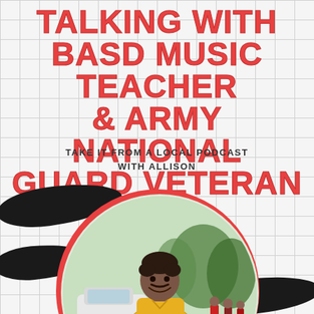TALKING WITH BASD MUSIC TEACHER & ARMY NATIONAL GUARD VETERAN
TAKE IT FROM A LOCAL PODCAST WITH ALLISON
[Figure (photo): A man in a yellow polo shirt standing outdoors with arms crossed, smiling. Behind him is a parking lot with a white car and people in the background. The photo is framed in a circular cutout with a red/coral ring border, overlaid on black paint brush strokes on a grid-paper background.]